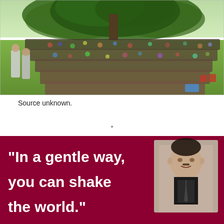[Figure (photo): Outdoor gathering with a large crowd of people seated in a semicircle under a large tree on a grassy field. Two or three figures standing at left appear to be addressing the crowd.]
Source unknown.
*
[Figure (infographic): Dark red/maroon banner with white bold text reading: "In a gentle way, you can shake the world." with a black-and-white portrait photograph of a young Mahatma Gandhi on the right side.]